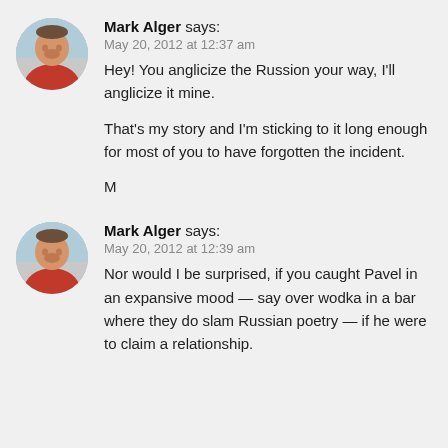[Figure (photo): Circular avatar photo of Mark Alger, a man in a red shirt]
Mark Alger says:
May 20, 2012 at 12:37 am
Hey! You anglicize the Russion your way, I'll anglicize it mine.

That's my story and I'm sticking to it long enough for most of you to have forgotten the incident.

M
[Figure (photo): Circular avatar photo of Mark Alger, a man in a red shirt]
Mark Alger says:
May 20, 2012 at 12:39 am
Nor would I be surprised, if you caught Pavel in an expansive mood — say over wodka in a bar where they do slam Russian poetry — if he were to claim a relationship.